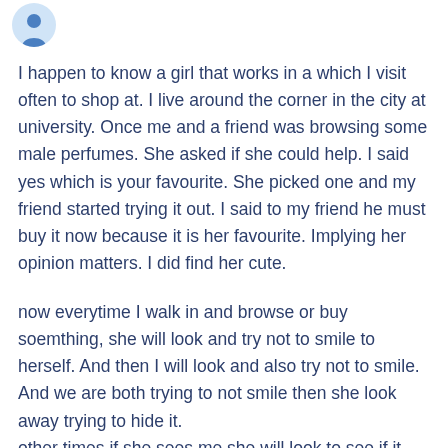[Figure (illustration): Blue avatar icon showing a person silhouette inside a circle, positioned in top-left]
I happen to know a girl that works in a which I visit often to shop at. I live around the corner in the city at university. Once me and a friend was browsing some male perfumes. She asked if she could help. I said yes which is your favourite. She picked one and my friend started trying it out. I said to my friend he must buy it now because it is her favourite. Implying her opinion matters. I did find her cute.
now everytime I walk in and browse or buy soemthing, she will look and try not to smile to herself. And then I will look and also try not to smile. And we are both trying to not smile then she look away trying to hide it.
other times if she sees me she will look to see if it